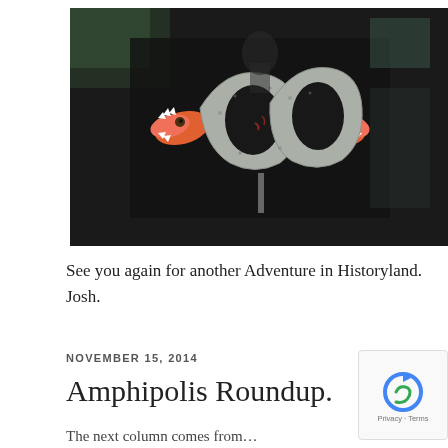[Figure (photo): A double-headed serpent artifact displayed in a museum case. The serpent body is grey/speckled stone-like material coiled in loops, with two orange-red and white open-mouthed heads on each end showing teeth. Background is dark.]
See you again for another Adventure in Historyland. Josh.
NOVEMBER 15, 2014
Amphipolis Roundup.
The next column comes from…